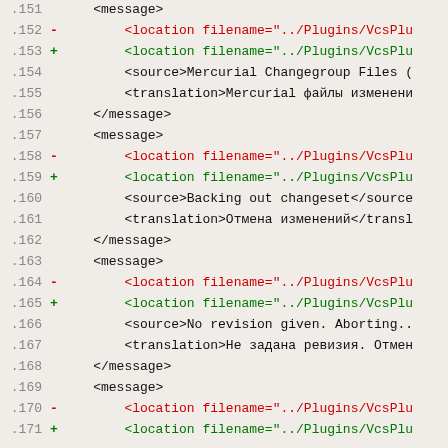Code diff showing XML message/location/source/translation elements, lines 151-171
.151  <message>
.152 -     <location filename="../Plugins/VcsPlu
.153 +     <location filename="../Plugins/VcsPlu
.154         <source>Mercurial Changegroup Files (
.155         <translation>Mercurial файлы изменени
.156     </message>
.157     <message>
.158 -     <location filename="../Plugins/VcsPlu
.159 +     <location filename="../Plugins/VcsPlu
.160         <source>Backing out changeset</source>
.161         <translation>Отмена изменений</transl
.162     </message>
.163     <message>
.164 -     <location filename="../Plugins/VcsPlu
.165 +     <location filename="../Plugins/VcsPlu
.166         <source>No revision given. Aborting..
.167         <translation>Не задана ревизия. Отмен
.168     </message>
.169     <message>
.170 -     <location filename="../Plugins/VcsPlu
.171 +     <location filename="../Plugins/VcsPlu